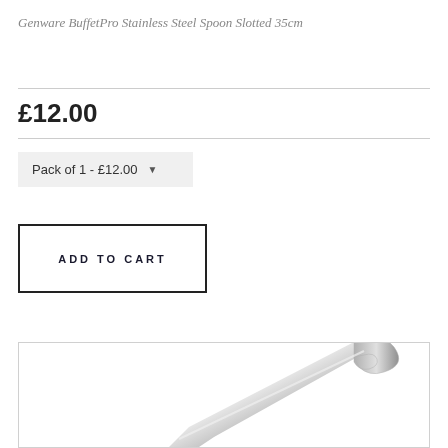Genware BuffetPro Stainless Steel Spoon Slotted 35cm
£12.00
Pack of 1 - £12.00
ADD TO CART
[Figure (photo): Photo of a stainless steel slotted spoon handle curling at the top, shown diagonally from lower-left to upper-right against a white background]